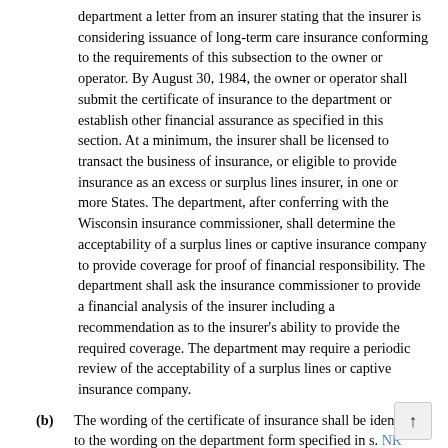department a letter from an insurer stating that the insurer is considering issuance of long-term care insurance conforming to the requirements of this subsection to the owner or operator. By August 30, 1984, the owner or operator shall submit the certificate of insurance to the department or establish other financial assurance as specified in this section. At a minimum, the insurer shall be licensed to transact the business of insurance, or eligible to provide insurance as an excess or surplus lines insurer, in one or more States. The department, after conferring with the Wisconsin insurance commissioner, shall determine the acceptability of a surplus lines or captive insurance company to provide coverage for proof of financial responsibility. The department shall ask the insurance commissioner to provide a financial analysis of the insurer including a recommendation as to the insurer's ability to provide the required coverage. The department may require a periodic review of the acceptability of a surplus lines or captive insurance company.
(b) The wording of the certificate of insurance shall be identical to the wording on the department form specified in s. NR 664.0151 (5).
(c) The long-term care insurance policy shall be issued for a face amount at least equal to the current long-term care cost estimate, except as provided in sub. (8). The term "face amount" means the total amount the insurer is obligated to